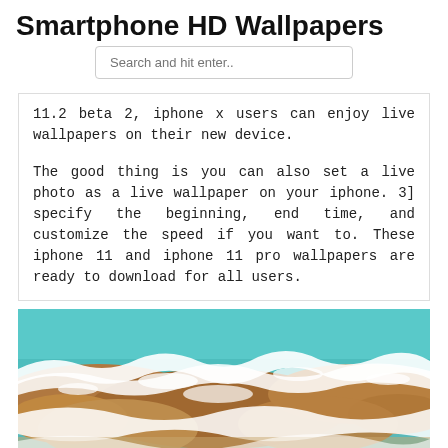Smartphone HD Wallpapers
Search and hit enter..
11.2 beta 2, iphone x users can enjoy "live wallpapers" on their new device.
The good thing is you can also set a live photo as a live wallpaper on your iphone. 3] specify the beginning, end time, and customize the speed if you want to. These iphone 11 and iphone 11 pro wallpapers are ready to download for all users.
[Figure (photo): Aerial view of ocean waves crashing over rocky shoreline with teal blue water and white foam.]